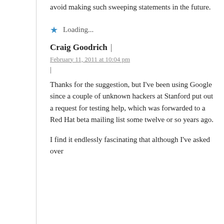avoid making such sweeping statements in the future.
Loading...
Craig Goodrich |
February 11, 2011 at 10:04 pm
|
Thanks for the suggestion, but I've been using Google since a couple of unknown hackers at Stanford put out a request for testing help, which was forwarded to a Red Hat beta mailing list some twelve or so years ago.
I find it endlessly fascinating that although I've asked over